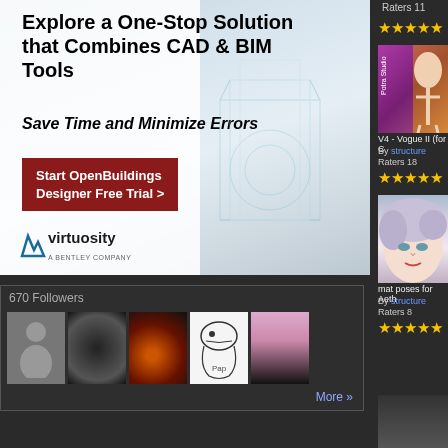[Figure (infographic): Advertisement banner for Virtuosity / Bentley OpenBuildings Designer. Bold black text reads: Explore a One-Stop Solution that Combines CAD & BIM Tools. Save Time and Minimize Errors. Red button: Start OpenBuildings Designer Free Trial >. Virtuosity logo bottom left. Background shows futuristic building wireframe.]
670 Followers
[Figure (photo): Row of 5 follower avatar images in a dark-bordered box]
More »
Raters 11
[Figure (photo): Product image: V4 - Vogue II (for C...) - 3D figure in purple/orange background]
V4 - Vogue II (for C
By structure
Raters 18
[Figure (photo): Product image: mat poses for Aeth... - 3D character face with silver hair]
mat poses for Aeth
By structure
Raters 8